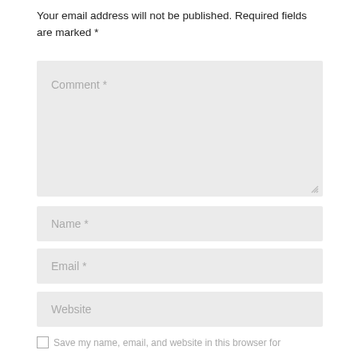Your email address will not be published. Required fields are marked *
[Figure (screenshot): Comment text area input field with placeholder text 'Comment *' and resize handle at bottom right]
[Figure (screenshot): Name text input field with placeholder text 'Name *']
[Figure (screenshot): Email text input field with placeholder text 'Email *']
[Figure (screenshot): Website text input field with placeholder text 'Website']
Save my name, email, and website in this browser for...